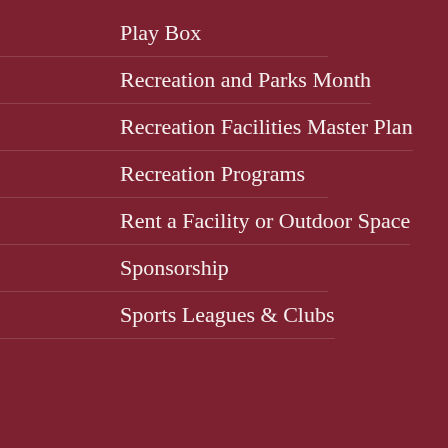Play Box
Recreation and Parks Month
Recreation Facilities Master Plan
Recreation Programs
Rent a Facility or Outdoor Space
Sponsorship
Sports Leagues & Clubs